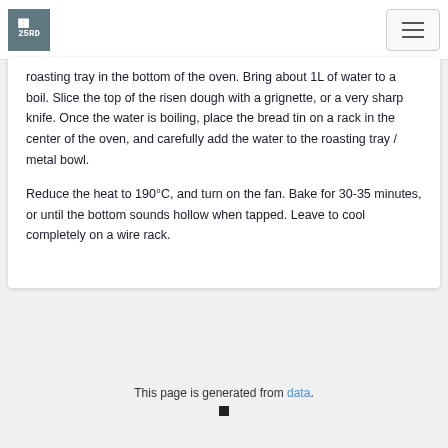25RD [logo] with hamburger menu
roasting tray in the bottom of the oven. Bring about 1L of water to a boil. Slice the top of the risen dough with a grignette, or a very sharp knife. Once the water is boiling, place the bread tin on a rack in the center of the oven, and carefully add the water to the roasting tray / metal bowl.
Reduce the heat to 190°C, and turn on the fan. Bake for 30-35 minutes, or until the bottom sounds hollow when tapped. Leave to cool completely on a wire rack.
This page is generated from data.